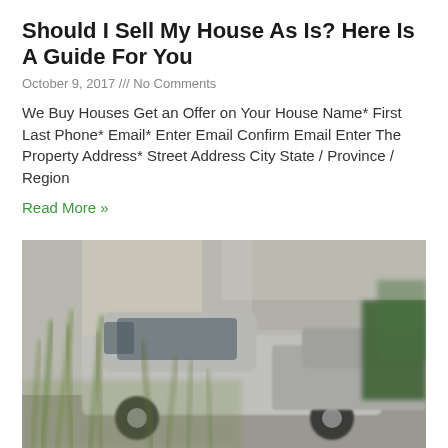Should I Sell My House As Is? Here Is A Guide For You
October 9, 2017 /// No Comments
We Buy Houses Get an Offer on Your House Name* First Last Phone* Email* Enter Email Confirm Email Enter The Property Address* Street Address City State / Province / Region
Read More »
[Figure (photo): Blurry outdoor photo showing a silver/grey pickup truck parked near a building, with tall green grass or reeds in the foreground and shrubs/foliage on the right side.]